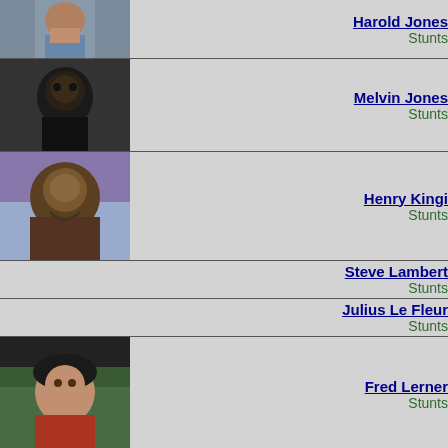[Figure (photo): Headshot of Harold Jones actor in blue jacket]
Harold Jones
stunts
[Figure (photo): Black and white headshot of Melvin Jones actor]
Melvin Jones
Stunts
[Figure (photo): Photo of Henry Kingi actor in costume with face makeup]
Henry Kingi
Stunts
Steve Lambert
Stunts
Julius Le Fleur
Stunts
[Figure (photo): Photo of Fred Lerner actor wearing black beanie hat outdoors]
Fred Lerner
Stunts